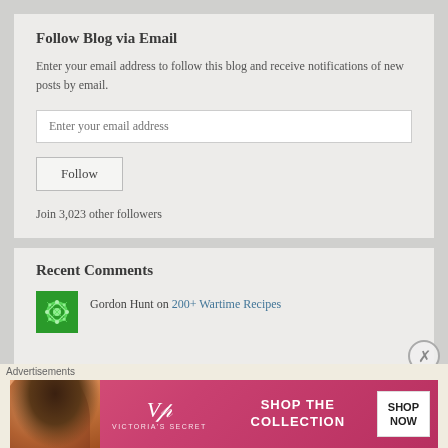Follow Blog via Email
Enter your email address to follow this blog and receive notifications of new posts by email.
Enter your email address
Follow
Join 3,023 other followers
Recent Comments
Gordon Hunt on 200+ Wartime Recipes
Advertisements
[Figure (screenshot): Victoria's Secret advertisement banner showing a model with the text SHOP THE COLLECTION and a SHOP NOW button]